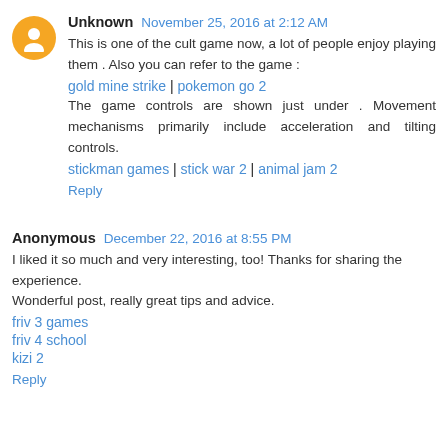Unknown  November 25, 2016 at 2:12 AM
This is one of the cult game now, a lot of people enjoy playing them . Also you can refer to the game :
gold mine strike | pokemon go 2
The game controls are shown just under . Movement mechanisms primarily include acceleration and tilting controls.
stickman games | stick war 2 | animal jam 2
Reply
Anonymous  December 22, 2016 at 8:55 PM
I liked it so much and very interesting, too! Thanks for sharing the experience.
Wonderful post, really great tips and advice.
friv 3 games
friv 4 school
kizi 2
Reply